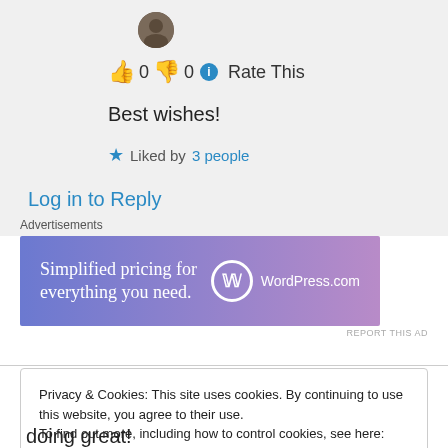[Figure (photo): User avatar photo — circular profile picture of a person]
👍 0 👎 0 ℹ Rate This
Best wishes!
★ Liked by 3 people
Log in to Reply
Advertisements
[Figure (illustration): WordPress.com advertisement banner: 'Simplified pricing for everything you need.' with WordPress.com logo]
REPORT THIS AD
Privacy & Cookies: This site uses cookies. By continuing to use this website, you agree to their use.
To find out more, including how to control cookies, see here: Cookie Policy
Close and accept
doing great!